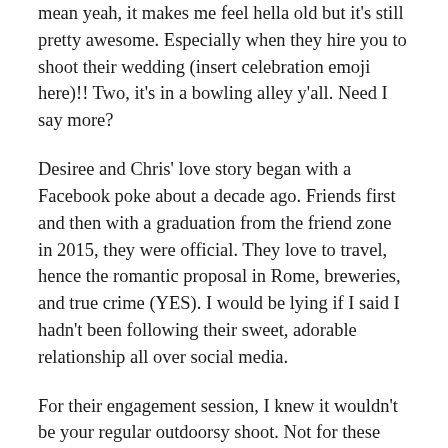mean yeah, it makes me feel hella old but it's still pretty awesome. Especially when they hire you to shoot their wedding (insert celebration emoji here)!! Two, it's in a bowling alley y'all. Need I say more?
Desiree and Chris' love story began with a Facebook poke about a decade ago. Friends first and then with a graduation from the friend zone in 2015, they were official. They love to travel, hence the romantic proposal in Rome, breweries, and true crime (YES). I would be lying if I said I hadn't been following their sweet, adorable relationship all over social media.
For their engagement session, I knew it wouldn't be your regular outdoorsy shoot. Not for these two. So we headed down to Dallas for an early morning session at Bowlounge. The super eclectic bowling alley a hop, skip, and a jump away from downtown. The venue was super accommodating and even let